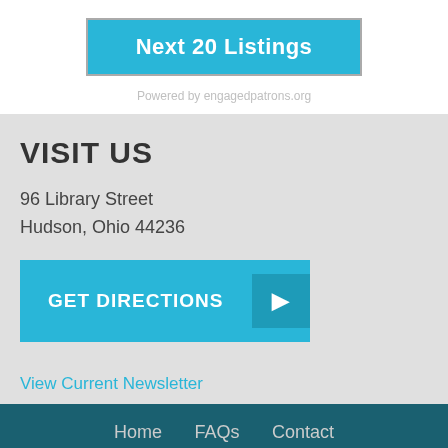Next 20 Listings
Powered by engagedpatrons.org
VISIT US
96 Library Street
Hudson, Ohio 44236
GET DIRECTIONS
View Current Newsletter
Home   FAQs   Contact
Morgan Entrepreneurship Center   Historical Society